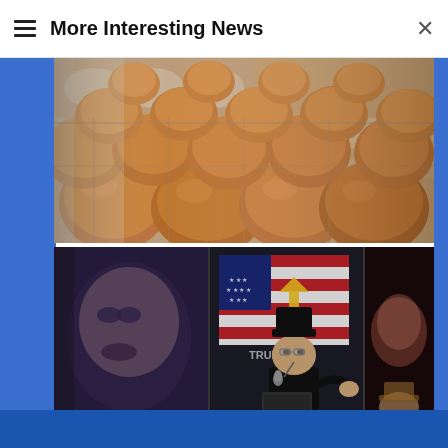More Interesting News
[Figure (photo): Close-up photo of brown eggs in egg cartons/trays]
[Figure (photo): Composite photo: a person in a black hat and outfit speaking into a microphone at a podium with an American flag and screen visible behind them; side panels show additional faces/images]